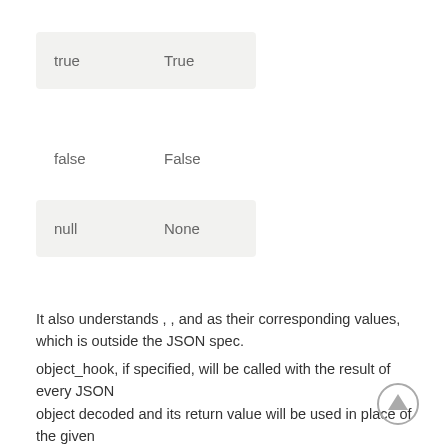| true | True |
| false | False |
| null | None |
It also understands , , and as their corresponding values, which is outside the JSON spec.
object_hook, if specified, will be called with the result of every JSON object decoded and its return value will be used in place of the given . This can be used to provide custom deserializations (e.g. to support JSON-RPC class hinting).